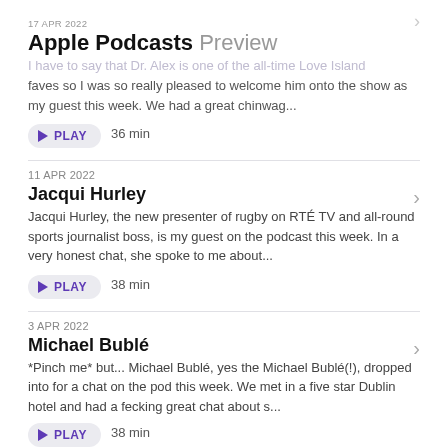17 APR 2022 | Apple Podcasts Preview
I have to say that Dr. Alex is one of the all-time Love Island faves so I was so really pleased to welcome him onto the show as my guest this week. We had a great chinwag...
▶ PLAY   36 min
11 APR 2022
Jacqui Hurley
Jacqui Hurley, the new presenter of rugby on RTÉ TV and all-round sports journalist boss, is my guest on the podcast this week. In a very honest chat, she spoke to me about...
▶ PLAY   38 min
3 APR 2022
Michael Bublé
*Pinch me* but... Michael Bublé, yes the Michael Bublé(!), dropped into for a chat on the pod this week. We met in a five star Dublin hotel and had a fecking great chat about s...
▶ PLAY   38 min
Show 10 More Episodes